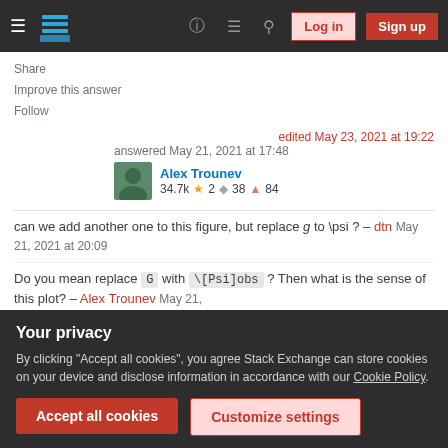Stack Exchange navigation bar with hamburger menu, logo, help, chat, search icons, Log in and Sign up buttons
Share | edited May 23, 2021 at 19:22
Improve this answer
Follow
answered May 21, 2021 at 17:48
Alex Trounev 34.7k ★2 ◆38 ▲84
can we add another one to this figure, but replace g to \psi ? – dtn May 21, 2021 at 20:09
Do you mean replace G with \[Psi]obs ? Then what is the sense of this plot? – Alex Trounev May 21,
Your privacy
By clicking "Accept all cookies", you agree Stack Exchange can store cookies on your device and disclose information in accordance with our Cookie Policy.
Accept all cookies
Customize settings